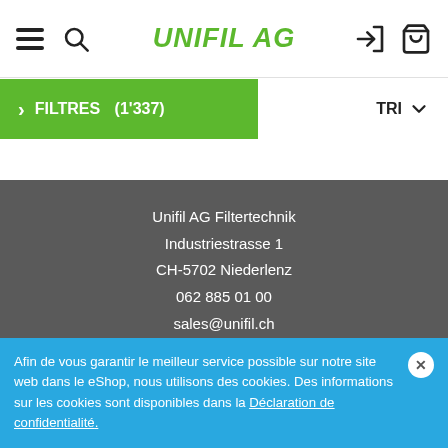UNIFIL AG
FILTRES (1'337)
TRI
Unifil AG Filtertechnik
Industriestrasse 1
CH-5702 Niederlenz
062 885 01 00
sales@unifil.ch
Produits
Afin de vous garantir le meilleur service possible sur notre site web dans le eShop, nous utilisons des cookies. Des informations sur les cookies sont disponibles dans la Déclaration de confidentialité.